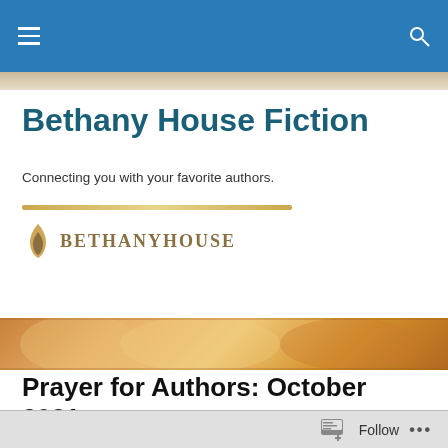Bethany House Fiction — navigation bar
Bethany House Fiction
Connecting you with your favorite authors.
[Figure (logo): Bethany House publisher logo with flame icon and text BETHANYHOUSE in gold/brown serif lettering]
[Figure (photo): Warm-toned horizontal stripe image of books or wooden surface in amber and gold tones]
Prayer for Authors: October 2021
Since it's Sunday, we'll be continuing the Bethany House
Follow